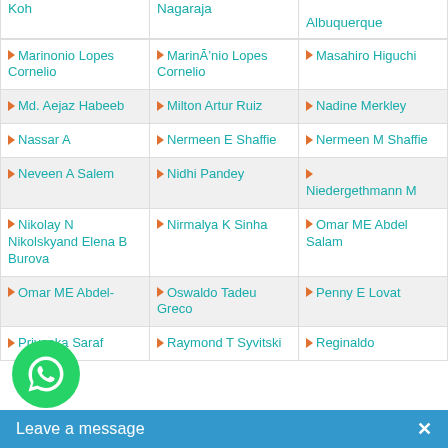Koh
Nagaraja
Albuquerque
Marinonio Lopes Cornelio
MarinĀ'nio Lopes Cornelio
Masahiro Higuchi
Md. Aejaz Habeeb
Milton Artur Ruiz
Nadine Merkley
Nassar A
Nermeen E Shaffie
Nermeen M Shaffie
Neveen A Salem
Nidhi Pandey
Niedergethmann M
Nikolay N Nikolskyand Elena B Burova
Nirmalya K Sinha
Omar ME Abdel Salam
Omar ME Abdel-
Oswaldo Tadeu Greco
Penny E Lovat
Priyanka Saraf
Raymond T Syvitski
Reginaldo